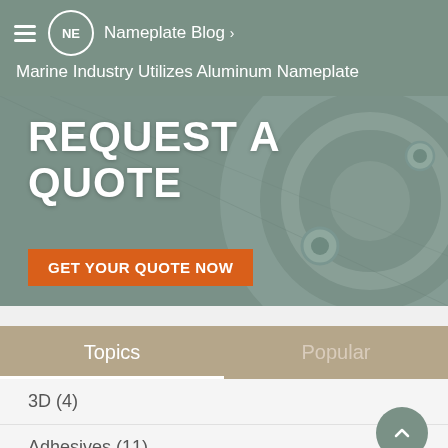NE  Nameplate Blog › Marine Industry Utilizes Aluminum Nameplate
[Figure (screenshot): Banner image with metallic/industrial background showing 'REQUEST A QUOTE' text and an orange 'GET YOUR QUOTE NOW' button]
Topics | Popular
3D (4)
Adhesives (11)
Aluminum (136)
Aluminum In-mold (9)